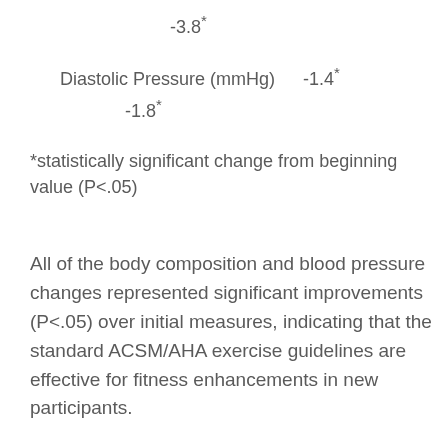| -3.8* |  |  |
| Diastolic Pressure (mmHg) | -1.4* | -2.2* |
| -1.8* |  |  |
*statistically significant change from beginning value (P<.05)
All of the body composition and blood pressure changes represented significant improvements (P<.05) over initial measures, indicating that the standard ACSM/AHA exercise guidelines are effective for fitness enhancements in new participants.